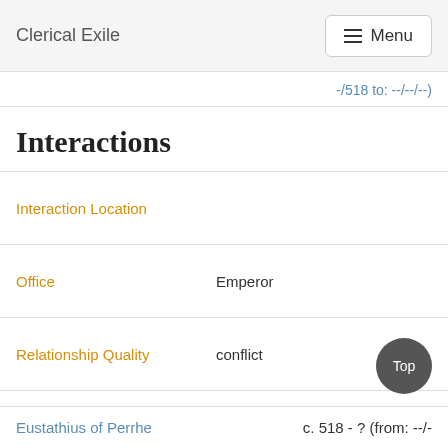Clerical Exile  ☰ Menu
-/518 to: --/--/--)
Interactions
Interaction Location
Office: Emperor
Relationship Quality: conflict
Interaction: responsible for exile
Eustathius of Perrhe   c. 518 - ? (from: --/-